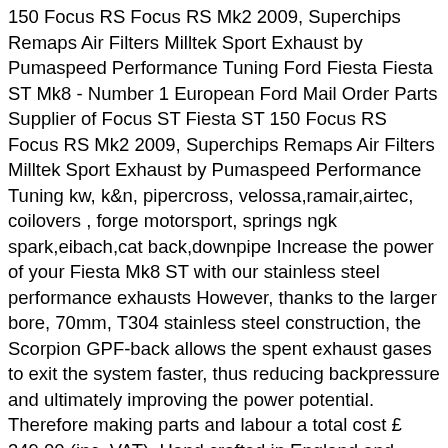150 Focus RS Focus RS Mk2 2009, Superchips Remaps Air Filters Milltek Sport Exhaust by Pumaspeed Performance Tuning Ford Fiesta Fiesta ST Mk8 - Number 1 European Ford Mail Order Parts Supplier of Focus ST Fiesta ST 150 Focus RS Focus RS Mk2 2009, Superchips Remaps Air Filters Milltek Sport Exhaust by Pumaspeed Performance Tuning kw, k&n, pipercross, velossa,ramair,airtec, coilovers , forge motorsport, springs ngk spark,eibach,cat back,downpipe Increase the power of your Fiesta Mk8 ST with our stainless steel performance exhausts However, thanks to the larger bore, 70mm, T304 stainless steel construction, the Scorpion GPF-back allows the spent exhaust gases to exit the system faster, thus reducing backpressure and ultimately improving the power potential. Therefore making parts and labour a total cost £ 349.00 (inc. VAT). Hand crafted in England and widely regarded as the best exhaust on the market today, Scorpion has become one of the most popular upgrades amongst both tuning enthusiasts and racers alike. I received the 3" Scorpion exhaust system from Essex Parts and had it installed after my dyno baseline. Increased flow from larger internal bore